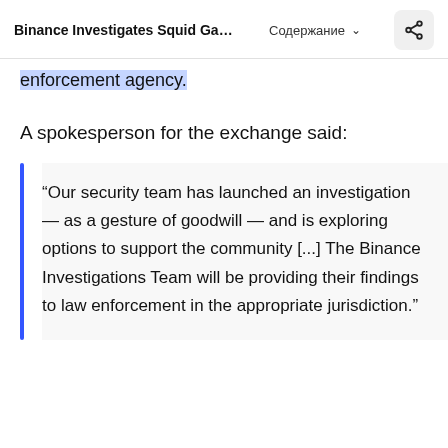Binance Investigates Squid Game-The... Содержание
enforcement agency.
A spokesperson for the exchange said:
“Our security team has launched an investigation — as a gesture of goodwill — and is exploring options to support the community [...] The Binance Investigations Team will be providing their findings to law enforcement in the appropriate jurisdiction.”